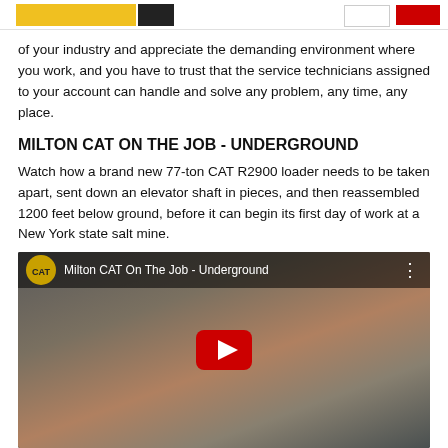Milton CAT logo header with search box and red button
of your industry and appreciate the demanding environment where you work, and you have to trust that the service technicians assigned to your account can handle and solve any problem, any time, any place.
MILTON CAT ON THE JOB - UNDERGROUND
Watch how a brand new 77-ton CAT R2900 loader needs to be taken apart, sent down an elevator shaft in pieces, and then reassembled 1200 feet below ground, before it can begin its first day of work at a New York state salt mine.
[Figure (screenshot): YouTube video embed showing Milton CAT On The Job - Underground, featuring a miner wearing a hard hat with a headlamp. Red YouTube play button overlay visible.]